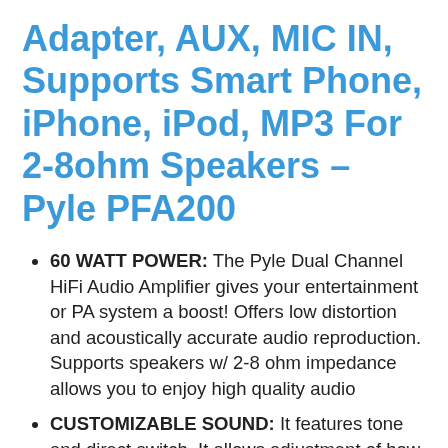Adapter, AUX, MIC IN, Supports Smart Phone, iPhone, iPod, MP3 For 2-8ohm Speakers – Pyle PFA200
60 WATT POWER: The Pyle Dual Channel HiFi Audio Amplifier gives your entertainment or PA system a boost! Offers low distortion and acoustically accurate audio reproduction. Supports speakers w/ 2-8 ohm impedance allows you to enjoy high quality audio
CUSTOMIZABLE SOUND: It features tone and direct switch. It allows adjustment of how much bass and